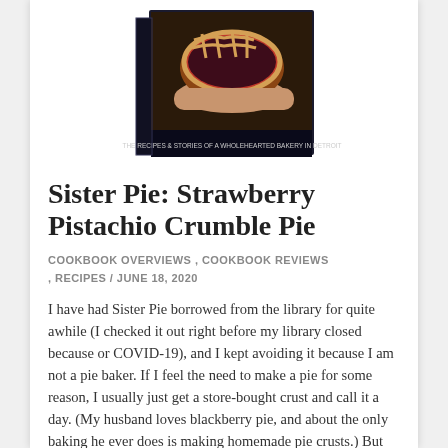[Figure (photo): Book cover of Sister Pie cookbook showing hands holding a fruit pie with decorative lattice crust, dark background]
Sister Pie: Strawberry Pistachio Crumble Pie
COOKBOOK OVERVIEWS , COOKBOOK REVIEWS , RECIPES / JUNE 18, 2020
I have had Sister Pie borrowed from the library for quite awhile (I checked it out right before my library closed because or COVID-19), and I kept avoiding it because I am not a pie baker. If I feel the need to make a pie for some reason, I usually just get a store-bought crust and call it a day. (My husband loves blackberry pie, and about the only baking he ever does is making homemade pie crusts.) But this book, which has a gorgeous cover, kept staring at me, and I finally decided to take on the challenge of making a homemade pie with crust from